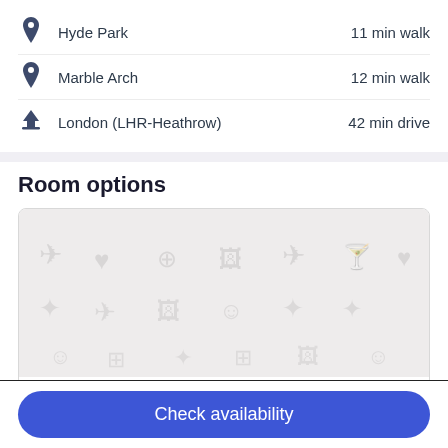Hyde Park — 11 min walk
Marble Arch — 12 min walk
London (LHR-Heathrow) — 42 min drive
Room options
[Figure (screenshot): Placeholder image area for room photo with tiled travel/hospitality icons on grey background]
Single Room
Check availability